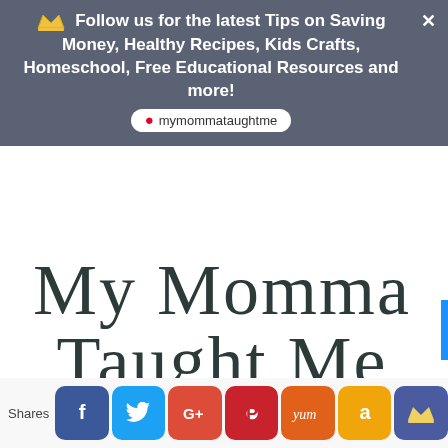Follow us for the latest Tips on Saving Money, Healthy Recipes, Kids Crafts, Homeschool, Free Educational Resources and more! mymommataughtme
[Figure (logo): My Momma Taught Me handwritten script logo in dark teal color]
Shares